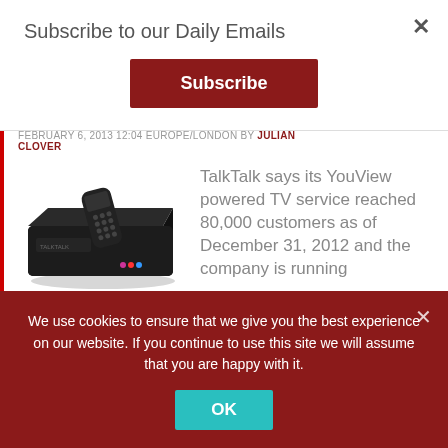Subscribe to our Daily Emails
Subscribe
FEBRUARY 6, 2013 12:04 EUROPE/LONDON BY JULIAN CLOVER
[Figure (photo): A black TalkTalk YouView TV set-top box with a remote control resting on top of it.]
TalkTalk says its YouView powered TV service reached 80,000 customers as of December 31, 2012 and the company is running
We use cookies to ensure that we give you the best experience on our website. If you continue to use this site we will assume that you are happy with it.
OK